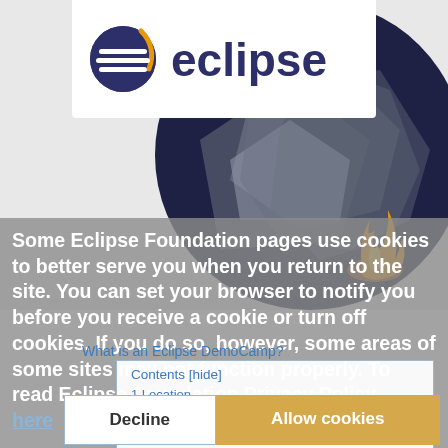[Figure (logo): Eclipse Foundation logo with horizontal lines sphere icon and 'eclipse' wordmark in dark blue]
[Figure (illustration): Dark circular illustration with geometric polygon shapes in gray/blue tones and a flame icon in orange/yellow on the right side]
Some Eclipse Foundation pages use cookies to better serve you when you return to the site. You can set your browser to notify you before you receive a cookie or turn off cookies. If you do so, however, some areas of some sites may not function properly. To read Eclipse Foundation Privacy Policy click here.
What is an Eclipse DemoCamp?
Contents [hide]
1 Location
2 Date and Time
3 Sponsors
4 Mediapartners
5 Organizer
6 Agenda
7 Call for Demos
8 Who Is Attending
Decline
Allow cookies